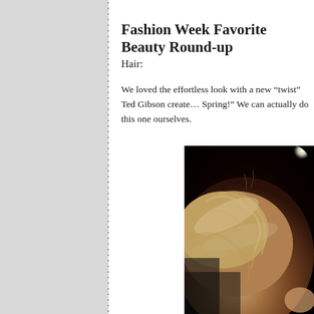Fashion Week Favorite Beauty Round-up
Hair:
We loved the effortless look with a new “twist” Ted Gibson create… Spring!” We can actually do this one ourselves.
[Figure (photo): Close-up photograph of the back of a woman's head showing an upswept twisted hairstyle with light auburn/blonde highlights, dark background with a bright light source visible in the upper right corner.]